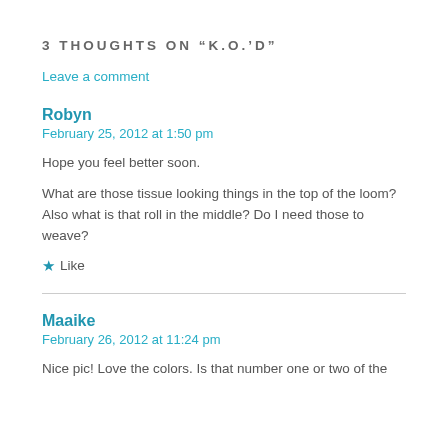3 THOUGHTS ON “K.O.’D”
Leave a comment
Robyn
February 25, 2012 at 1:50 pm
Hope you feel better soon.
What are those tissue looking things in the top of the loom? Also what is that roll in the middle? Do I need those to weave?
Like
Maaike
February 26, 2012 at 11:24 pm
Nice pic! Love the colors. Is that number one or two of the